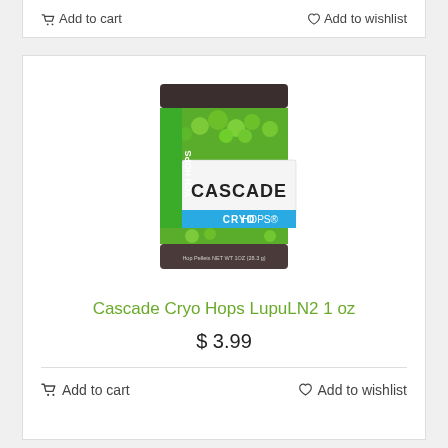Add to cart   Add to wishlist
[Figure (photo): Product photo of YCH Hops Cascade CryoHops hop pellets 1 oz bag with green and blue label showing hops imagery]
Cascade Cryo Hops LupuLN2 1 oz
$ 3.99
Add to cart   Add to wishlist